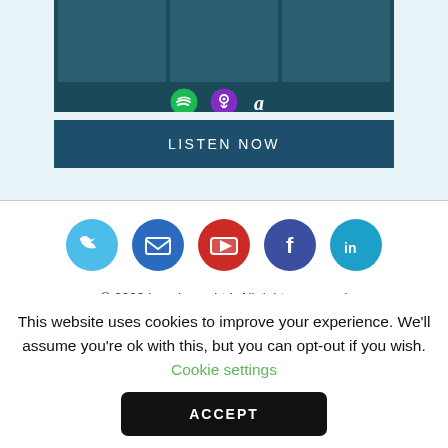[Figure (screenshot): Podcast page screenshot showing people in suits with Spotify, Apple Podcasts, and another podcast platform icons on a dark teal background]
LISTEN NOW
[Figure (infographic): Social media icons: Twitter, Email, YouTube, Facebook, LinkedIn]
© 2022 Legalease Ltd. All rights reserved Registered company in England & Wales No. 2427356 VAT 301570700
This website uses cookies to improve your experience. We'll assume you're ok with this, but you can opt-out if you wish. Cookie settings
ACCEPT